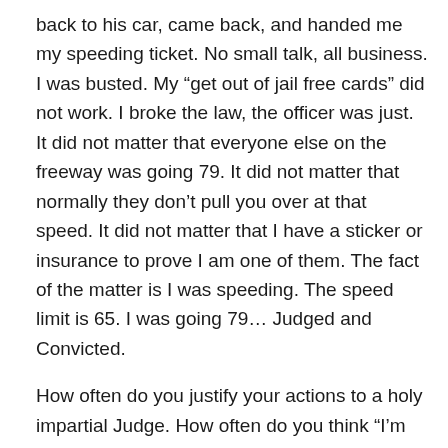back to his car, came back, and handed me my speeding ticket. No small talk, all business. I was busted. My “get out of jail free cards” did not work. I broke the law, the officer was just. It did not matter that everyone else on the freeway was going 79. It did not matter that normally they don’t pull you over at that speed. It did not matter that I have a sticker or insurance to prove I am one of them. The fact of the matter is I was speeding. The speed limit is 65. I was going 79… Judged and Convicted.
How often do you justify your actions to a holy impartial Judge. How often do you think “I’m on the good guy’s team, He will let it slide this time.” How often do you think “I’m not as bad as that other guy over there. He must judge based on a curve.” There could be nothing further from the truth. Check out this verse in 1 Peter: